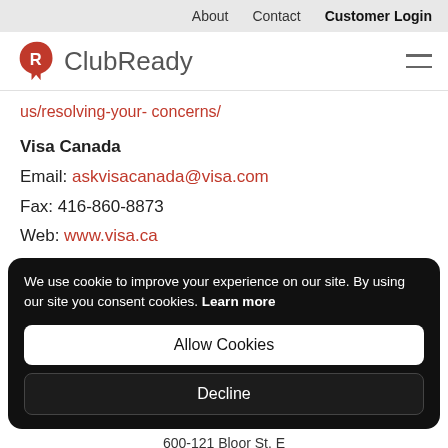About   Contact   Customer Login
[Figure (logo): ClubReady logo with red stylized R icon and grey ClubReady text]
us/resolving-your- concerns/
Visa Canada
Email: askvisacanada@visa.com
Fax: 416-860-8873
Web: www.visa.ca
We use cookie to improve your experience on our site. By using our site you consent cookies. Learn more
Allow Cookies
Decline
600-121 Bloor St. E